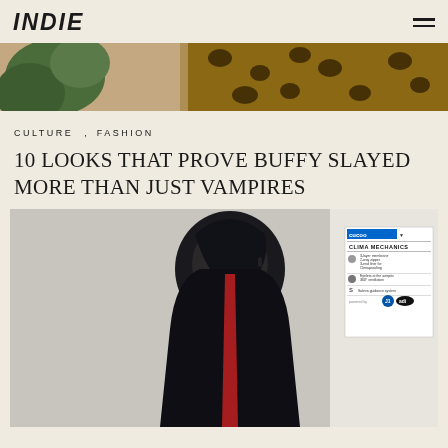INDIE
[Figure (photo): Top hero image showing a person in leopard print fabric with tropical plants visible on the left]
CULTURE , FASHION
10 LOOKS THAT PROVE BUFFY SLAYED MORE THAN JUST VAMPIRES
[Figure (photo): Photo of a man in a dark hooded fleece jacket leaning forward, with a Clima Mechanics adidas advertisement card visible in the background on the right]